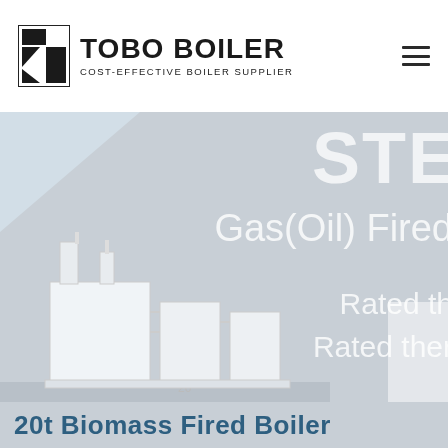[Figure (logo): TOBO BOILER logo with black geometric icon and text 'COST-EFFECTIVE BOILER SUPPLIER']
[Figure (screenshot): Website hero banner for TOBO BOILER showing a gray background with partially visible text 'STE...', 'Gas(Oil) Fired', 'Rated th...', 'Rated ther...' and a white industrial boiler equipment image at bottom]
20t Biomass Fired Boiler